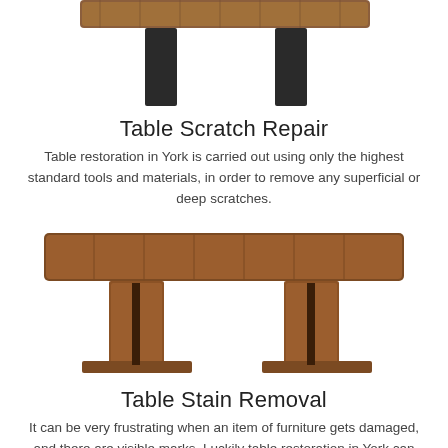[Figure (photo): Top portion of a wooden table with dark metal legs, partially cropped at the top of the page]
Table Scratch Repair
Table restoration in York is carried out using only the highest standard tools and materials, in order to remove any superficial or deep scratches.
[Figure (photo): A walnut-colored rectangular dining table with two solid panel legs, viewed from a slight angle]
Table Stain Removal
It can be very frustrating when an item of furniture gets damaged, and there are visible marks. Luckily table restoration in York can help.